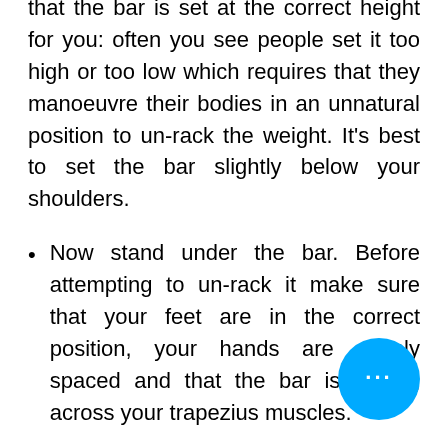that the bar is set at the correct height for you: often you see people set it too high or too low which requires that they manoeuvre their bodies in an unnatural position to un-rack the weight. It's best to set the bar slightly below your shoulders.
Now stand under the bar. Before attempting to un-rack it make sure that your feet are in the correct position, your hands are evenly spaced and that the bar is resting across your trapezius muscles.
When you are comfortable and have organised your anatomy in the correct position, only now...